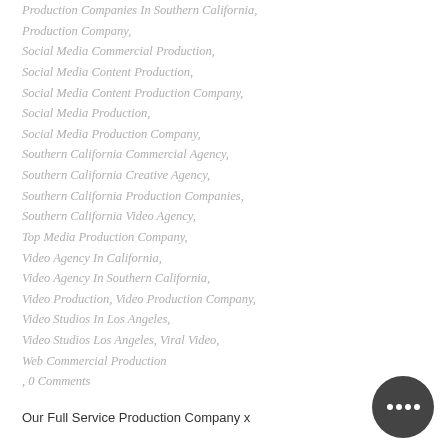Production Companies In Southern California,
Production Company,
Social Media Commercial Production,
Social Media Content Production,
Social Media Content Production Company,
Social Media Production,
Social Media Production Company,
Southern California Commercial Agency,
Southern California Creative Agency,
Southern California Production Companies,
Southern California Video Agency,
Top Media Production Company,
Video Agency In California,
Video Agency In Southern California,
Video Production, Video Production Company,
Video Studios In Los Angeles,
Video Studios Los Angeles, Viral Video,
Web Commercial Production
, 0 Comments
Our Full Service Production Company x